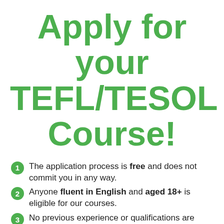Apply for your TEFL/TESOL Course!
The application process is free and does not commit you in any way.
Anyone fluent in English and aged 18+ is eligible for our courses.
No previous experience or qualifications are